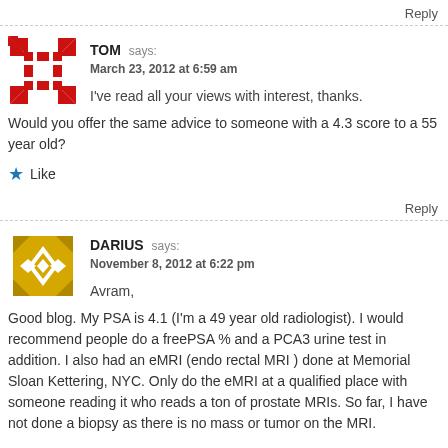Reply
[Figure (illustration): Red pixel/cross-pattern avatar for user TOM]
TOM says:
March 23, 2012 at 6:59 am

I've read all your views with interest, thanks.
Would you offer the same advice to someone with a 4.3 score to a 55 year old?
Like
Reply
[Figure (illustration): Gold/yellow geometric diamond-pattern avatar for user DARIUS]
DARIUS says:
November 8, 2012 at 6:22 pm

Avram,
Good blog. My PSA is 4.1 (I'm a 49 year old radiologist). I would recommend people do a freePSA % and a PCA3 urine test in addition. I also had an eMRI (endo rectal MRI ) done at Memorial Sloan Kettering, NYC. Only do the eMRI at a qualified place with someone reading it who reads a ton of prostate MRIs. So far, I have not done a biopsy as there is no mass or tumor on the MRI.